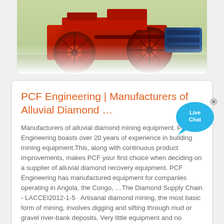[Figure (photo): Red industrial mining machinery with large red wheels and a blue motor, photographed outdoors.]
PCF Engineering | Manufacturers of Alluvial Diamond …
Manufacturers of alluvial diamond mining equipment. PCF Engineering boasts over 20 years of experience in building mining equipment.This, along with continuous product improvements, makes PCF your first choice when deciding on a supplier of alluvial diamond recovery equipment. PCF Engineering has manufactured equipment for companies operating in Angola, the Congo, …The Diamond Supply Chain - LACCEI2012-1-5 · Artisanal diamond mining, the most basic form of mining, involves digging and sifting through mud or gravel river-bank deposits. Very little equipment and no technology is needed to mine but hard labor, and long hours are necessary. "Diamond diggers" work with their bare hands, shovels, and sieves. ...